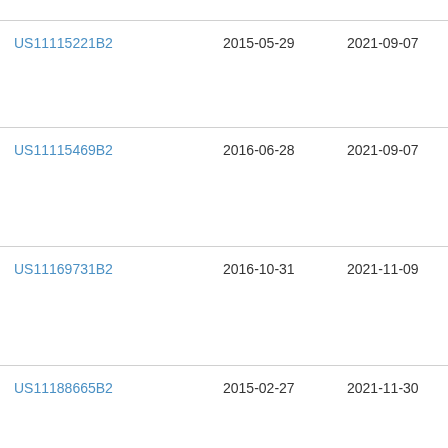| Patent | Filed | Issued | Assignee |
| --- | --- | --- | --- |
| US11115221B2 | 2015-05-29 | 2021-09-07 | Pur... Inc... |
| US11115469B2 | 2016-06-28 | 2021-09-07 | Inte... Bus... Ma... Cor... |
| US11169731B2 | 2016-10-31 | 2021-11-09 | Inte... Bus... Ma... Cor... |
| US11188665B2 | 2015-02-27 | 2021-11-30 | Pur... Inc... |
| US11204836B1 | 2014-01-31 | 2021-12-21 | Pur... Inc... |